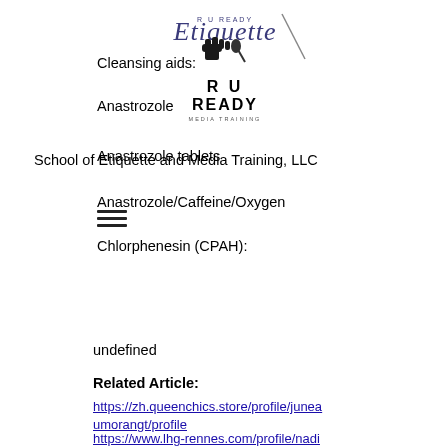[Figure (logo): R U Ready School of Etiquette and Media Training LLC logo with stylized cursive text and fist icon]
Cleansing aids:
Anastrozole
School of Etiquette and Media Training, LLC
Anastrozole tablets
Anastrozole/Caffeine/Oxygen
Chlorphenesin (CPAH):
undefined
Related Article:
https://zh.queenchics.store/profile/juneaumorangt/profile
https://www.lhg-rennes.com/profile/nadiabakhvalova30374/pr